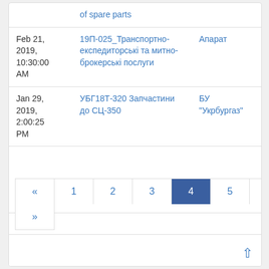| Date | Title | Organization |
| --- | --- | --- |
|  | of spare parts |  |
| Feb 21, 2019, 10:30:00 AM | 19П-025_Транспортно-експедиторські та митно-брокерські послуги | Апарат |
| Jan 29, 2019, 2:00:25 PM | УБГ18Т-320 Запчастини до СЦ-350 | БУ "Укрбургаз" |
« 1 2 3 4 5 6 7 8 9 10 »